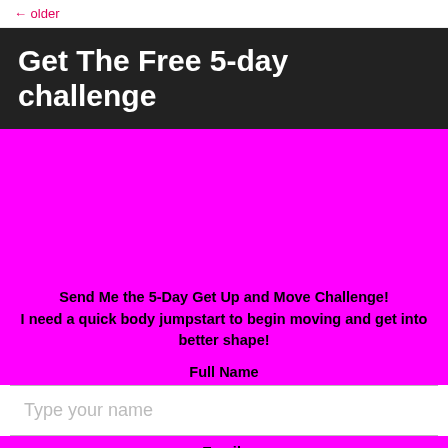← older
Get The Free 5-day challenge
[Figure (other): Large magenta/pink background block serving as decorative image area]
Send Me the 5-Day Get Up and Move Challenge!
I need a quick body jumpstart to begin moving and get into better shape!
Full Name
Type your name
Email: